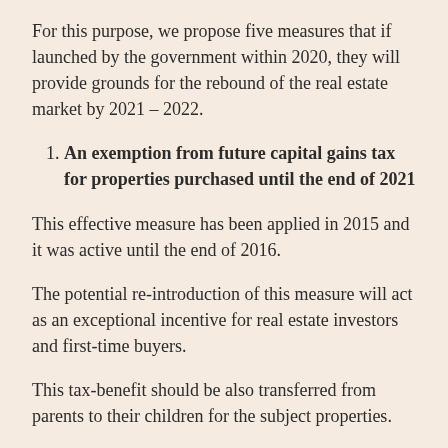For this purpose, we propose five measures that if launched by the government within 2020, they will provide grounds for the rebound of the real estate market by 2021 – 2022.
An exemption from future capital gains tax for properties purchased until the end of 2021
This effective measure has been applied in 2015 and it was active until the end of 2016.
The potential re-introduction of this measure will act as an exceptional incentive for real estate investors and first-time buyers.
This tax-benefit should be also transferred from parents to their children for the subject properties.